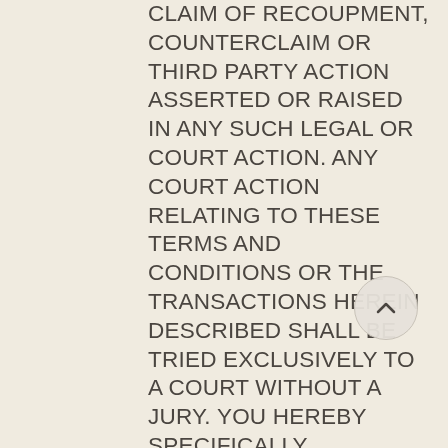CLAIM OF RECOUPMENT, COUNTERCLAIM OR THIRD PARTY ACTION ASSERTED OR RAISED IN ANY SUCH LEGAL OR COURT ACTION. ANY COURT ACTION RELATING TO THESE TERMS AND CONDITIONS OR THE TRANSACTIONS HEREIN DESCRIBED SHALL BE TRIED EXCLUSIVELY TO A COURT WITHOUT A JURY. YOU HEREBY SPECIFICALLY ACKNOWLEDGE THAT YOUR AGREEMENT TO THIS WAIVER OF JURY TRIAL IS A MATERIAL INDUCEMENT FOR PERMITTING YOU TO UTILIZE THIS SERVICE.YOU UNDERSTAND AND AGREE THAT BY ENTERING INTO THIS